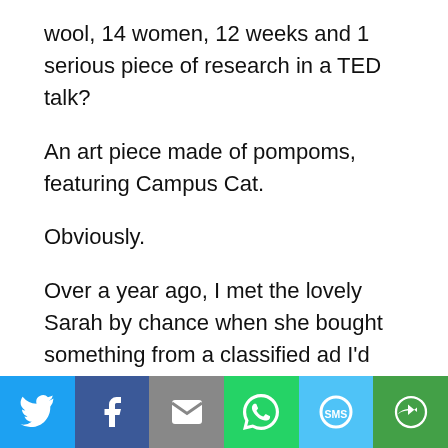wool, 14 women, 12 weeks and 1 serious piece of research in a TED talk?
An art piece made of pompoms, featuring Campus Cat.
Obviously.
Over a year ago, I met the lovely Sarah by chance when she bought something from a classified ad I'd placed and we got talking about her crochet flower brooch. We decided, as you do, that what we
[Figure (infographic): Social sharing bar with six buttons: Twitter (blue), Facebook (dark blue), Email (grey), WhatsApp (green), SMS (light blue), More/share (dark green), each with white icon.]